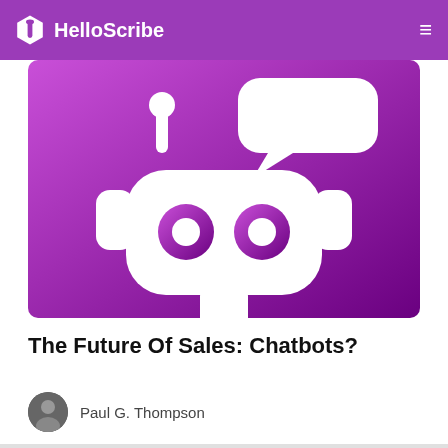HelloScribe
[Figure (illustration): Robot chatbot illustration with white robot face having circular eyes, antenna with ball tops, headphone-like ears, and a speech bubble — all white on a purple-to-dark-purple gradient background]
The Future Of Sales: Chatbots?
Paul G. Thompson